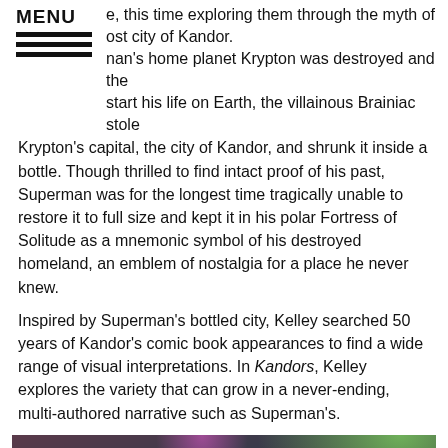MENU
e, this time exploring them through the myth of ost city of Kandor. nan's home planet Krypton was destroyed and the start his life on Earth, the villainous Brainiac stole Krypton's capital, the city of Kandor, and shrunk it inside a bottle. Though thrilled to find intact proof of his past, Superman was for the longest time tragically unable to restore it to full size and kept it in his polar Fortress of Solitude as a mnemonic symbol of his destroyed homeland, an emblem of nostalgia for a place he never knew.
Inspired by Superman's bottled city, Kelley searched 50 years of Kandor's comic book appearances to find a wide range of visual interpretations. In Kandors, Kelley explores the variety that can grow in a never-ending, multi-authored narrative such as Superman's.
[Figure (photo): Installation view of the Kandors exhibition showing various bottle-shaped sculptures with colorful lighting including green, magenta, red, and blue illuminated bottles displayed on pedestals in a darkened gallery space.]